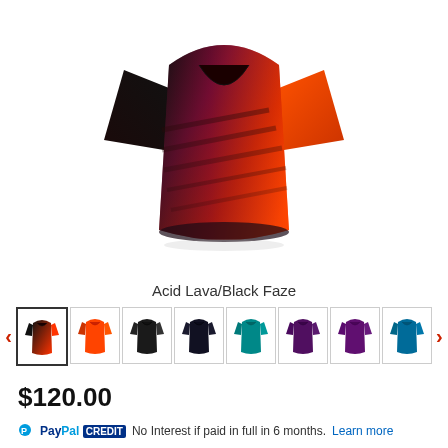[Figure (photo): Cycling jersey with black and red/orange gradient (Acid Lava/Black Faze colorway), displayed on white background]
Acid Lava/Black Faze
[Figure (other): Product color variant carousel with 8 thumbnail images of cycling jerseys in various colors: red/black gradient, orange/red, solid black (two variants), teal, purple (two variants), teal/blue. Navigation arrows on left and right.]
$120.00
No Interest if paid in full in 6 months. Learn more